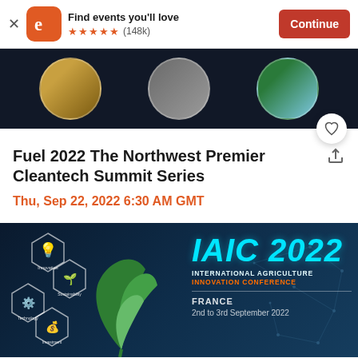[Figure (screenshot): App install banner with Eventbrite logo, 'Find events you'll love', 5 stars (148k reviews), and Continue button]
[Figure (photo): Dark event header image showing three circular cropped photos of food, a person, and green produce on a dark background, with a heart/favorite button]
Fuel 2022 The Northwest Premier Cleantech Summit Series
Thu, Sep 22, 2022 6:30 AM GMT
[Figure (photo): IAIC 2022 International Agriculture Innovation Conference event banner with hexagon icons (Innovation, Sustainability, Technology, Investment), green leaf logo, and colorful text on dark blue background. France, 2nd to 3rd September 2022.]